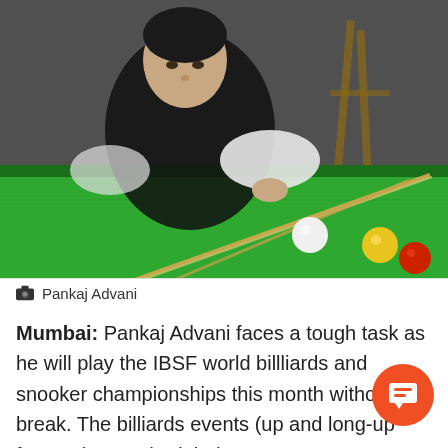[Figure (photo): Pankaj Advani leaning over a green billiards/snooker table, holding a cue stick, with billiard balls visible on the table including yellow and red balls. The player is wearing a dark vest over a white shirt.]
Pankaj Advani
Mumbai: Pankaj Advani faces a tough task as he will play the IBSF world billliards and snooker championships this month without a break. The billiards events (up and long-up formats) are scheduled